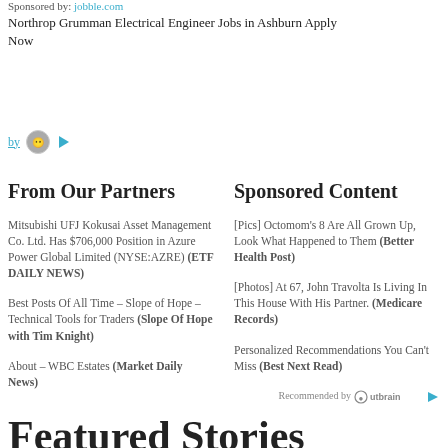Sponsored by: jobble.com
Northrop Grumman Electrical Engineer Jobs in Ashburn Apply Now
[Figure (logo): by [avatar icon] [play icon] - Outbrain attribution icons]
From Our Partners
Sponsored Content
Mitsubishi UFJ Kokusai Asset Management Co. Ltd. Has $706,000 Position in Azure Power Global Limited (NYSE:AZRE) (ETF DAILY NEWS)
Best Posts Of All Time – Slope of Hope – Technical Tools for Traders (Slope Of Hope with Tim Knight)
About – WBC Estates (Market Daily News)
[Pics] Octomom's 8 Are All Grown Up, Look What Happened to Them (Better Health Post)
[Photos] At 67, John Travolta Is Living In This House With His Partner. (Medicare Records)
Personalized Recommendations You Can't Miss (Best Next Read)
Recommended by Outbrain
Featured Stories